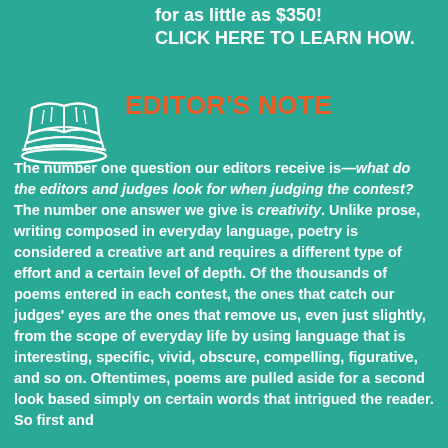You can publish your own book of poetry for as little as $350! CLICK HERE TO LEARN HOW.
[Figure (illustration): White outline icon of stacked open books/pages on teal background]
EDITOR'S NOTE
The number one question our editors receive is—what do the editors and judges look for when judging the contest? The number one answer we give is creativity. Unlike prose, writing composed in everyday language, poetry is considered a creative art and requires a different type of effort and a certain level of depth. Of the thousands of poems entered in each contest, the ones that catch our judges' eyes are the ones that remove us, even just slightly, from the scope of everyday life by using language that is interesting, specific, vivid, obscure, compelling, figurative, and so on. Oftentimes, poems are pulled aside for a second look based simply on certain words that intrigued the reader. So first and